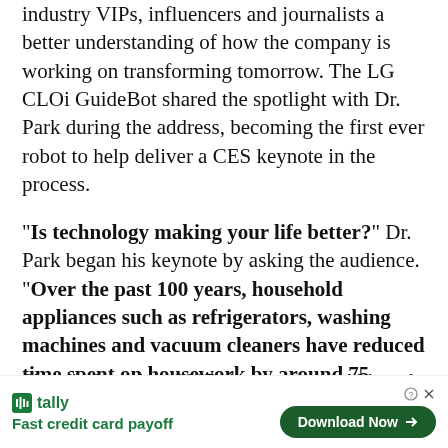industry VIPs, influencers and journalists a better understanding of how the company is working on transforming tomorrow. The LG CLOi GuideBot shared the spotlight with Dr. Park during the address, becoming the first ever robot to help deliver a CES keynote in the process.
"Is technology making your life better?" Dr. Park began his keynote by asking the audience. "Over the past 100 years, household appliances such as refrigerators, washing machines and vacuum cleaners have reduced time spent on housework by around 75 percent, but the amount of cognitive labor involved has significantly increased." Dr. Park explained, "The answer lies in AI - but only if we can achieve true intelligence."
Since its launch in 2017, the company's AI brand LG ThinQ h[...] le air conditi[...] es and
[Figure (other): Advertisement overlay from Tally app showing logo, tagline 'Fast credit card payoff', a 'Download Now' button, and close controls.]